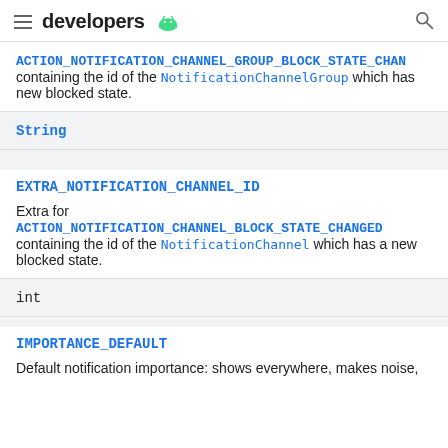developers
ACTION_NOTIFICATION_CHANNEL_GROUP_BLOCK_STATE_CHAN containing the id of the NotificationChannelGroup which has new blocked state.
String
EXTRA_NOTIFICATION_CHANNEL_ID
Extra for ACTION_NOTIFICATION_CHANNEL_BLOCK_STATE_CHANGED containing the id of the NotificationChannel which has a new blocked state.
int
IMPORTANCE_DEFAULT
Default notification importance: shows everywhere, makes noise,